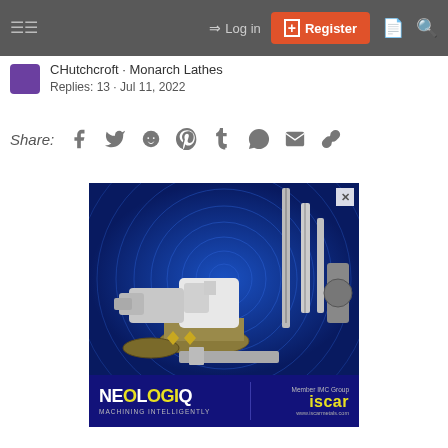Log in | Register
CHutchcroft · Monarch Lathes
Replies: 13 · Jul 11, 2022
Share:
[Figure (photo): Advertisement banner for Neologiq / Iscar Metals showing machining tools including drills, milling cutters, and turning inserts on a blue concentric-circle background. Bottom bar shows Neologiq logo with tagline 'Machining Intelligently' and Iscar logo with 'Member IMC Group' and www.iscarmetals.com]